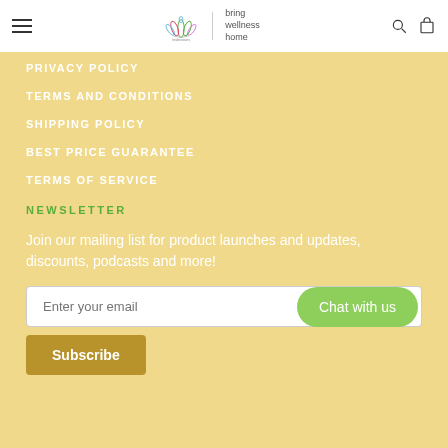Healevation — Bring Wellness Home
PRIVACY POLICY
TERMS AND CONDITIONS
SHIPPING POLICY
BEST PRICE GUARANTEE
TERMS OF SERVICE
NEWSLETTER
Join our mailing list for product launches and updates, discounts, podcasts and more!
Enter your email
Chat with us
Subscribe